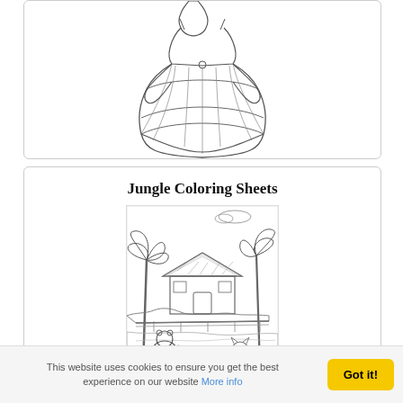[Figure (illustration): A coloring page outline of a princess/Cinderella in a ball gown, shown from the torso down, holding the sides of her large layered skirt.]
Jungle Coloring Sheets
[Figure (illustration): A black and white coloring sheet depicting a jungle scene with palm trees, a thatched-roof hut, a bridge over water, a bear or large animal walking with a staff, and a sitting cat or animal in the foreground.]
This website uses cookies to ensure you get the best experience on our website More info
Got it!